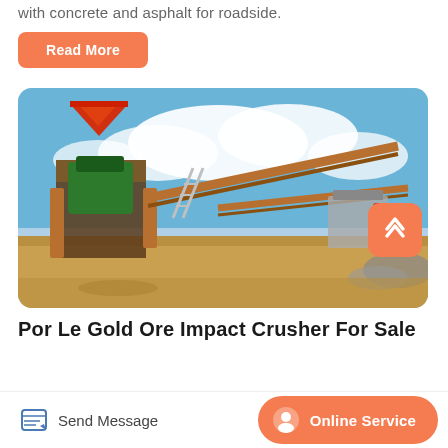with concrete and asphalt for roadside.
Read More
[Figure (photo): Industrial mining/crushing plant with conveyor belts, green crusher machinery, orange metal framework, and a blue sky with white clouds in the background. Sandy/rocky ground in foreground.]
Por Le Gold Ore Impact Crusher For Sale
Send Message
Online Service